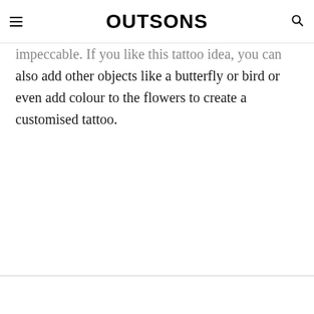OUTSONS
impeccable. If you like this tattoo idea, you can also add other objects like a butterfly or bird or even add colour to the flowers to create a customised tattoo.